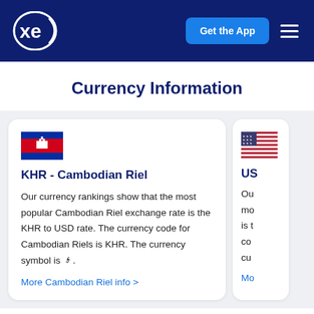xe — Get the App
Currency Information
KHR - Cambodian Riel
Our currency rankings show that the most popular Cambodian Riel exchange rate is the KHR to USD rate. The currency code for Cambodian Riels is KHR. The currency symbol is ៛.
More Cambodian Riel info >